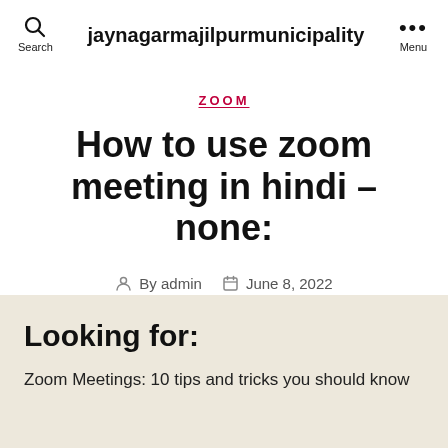jaynagarmajilpurmunicipality
ZOOM
How to use zoom meeting in hindi – none:
By admin   June 8, 2022
Looking for:
Zoom Meetings: 10 tips and tricks you should know